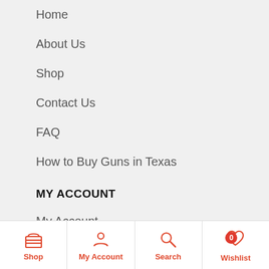Home
About Us
Shop
Contact Us
FAQ
How to Buy Guns in Texas
MY ACCOUNT
My Account
Order History
Wish list
Shop  My Account  Search  Wishlist